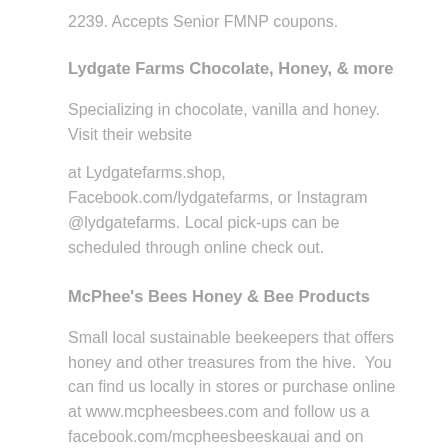2239. Accepts Senior FMNP coupons.
Lydgate Farms Chocolate, Honey, & more
Specializing in chocolate, vanilla and honey.  Visit their website
at Lydgatefarms.shop, Facebook.com/lydgatefarms, or Instagram @lydgatefarms. Local pick-ups can be scheduled through online check out.
McPhee's Bees Honey & Bee Products
Small local sustainable beekeepers that offers honey and other treasures from the hive.  You can find us locally in stores or purchase online at www.mcpheesbees.com and follow us a facebook.com/mcpheesbeeskauai and on